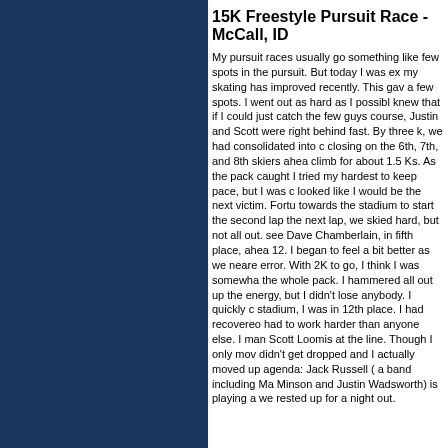15K Freestyle Pursuit Race - McCall, ID
My pursuit races usually go something like this: I lose a few spots in the pursuit. But today I was excited because my skating has improved recently. This gave me confidence to race hard and try to move up a few spots. I went out as hard as I possibly could because I knew that if I could just catch the few guys ahead of me course, Justin and Scott were right behind me and moving fast. By three k, we had consolidated into one group and closing on the 6th, 7th, and 8th skiers ahead. We had a climb for about 1.5 Ks. As the pack caught the group ahead, I tried my hardest to keep pace, but I was dropped and it looked like I would be the next victim. Fortunately, heading towards the stadium to start the second lap, I caught back. On the next lap, we skied hard, but not all out. I could now see Dave Chamberlain, in fifth place, ahead in position of 12. I began to feel a bit better as we neared the halfway error. With 2K to go, I think I was somewhat ahead of the whole pack. I hammered all out up the hill and used a lot of energy, but I didn't lose anybody. I quickly climbed and, at the stadium, I was in 12th place. I had recovered well, but I had to work harder than anyone else. I managed to out kick Scott Loomis at the line. Though I only moved up a few, I didn't get dropped and I actually moved up. The evening agenda: Jack Russell ( a band including Marcus Raether, Jason Minson and Justin Wadsworth) is playing at a local place and we rested up for a night out.